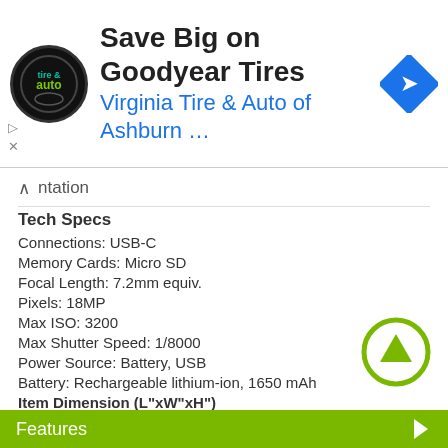[Figure (other): Advertisement banner for Virginia Tire & Auto of Ashburn with logo, text 'Save Big on Goodyear Tires', and navigation icon]
Tech Specs
Connections: USB-C
Memory Cards: Micro SD
Focal Length: 7.2mm equiv.
Pixels: 18MP
Max ISO: 3200
Max Shutter Speed: 1/8000
Power Source: Battery, USB
Battery: Rechargeable lithium-ion, 1650 mAh
Item Dimension (L"xW"xH")
9 x 5 x 3
Weight
1.1 lbs
Warranty Information
NA
Features